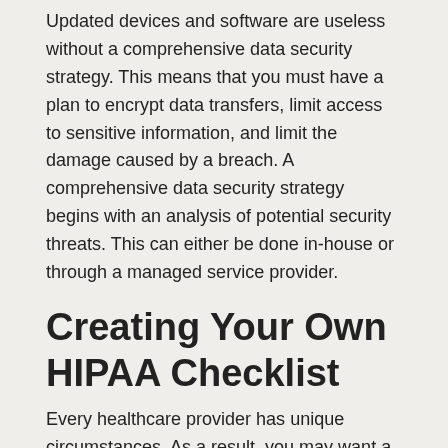Updated devices and software are useless without a comprehensive data security strategy. This means that you must have a plan to encrypt data transfers, limit access to sensitive information, and limit the damage caused by a breach. A comprehensive data security strategy begins with an analysis of potential security threats. This can either be done in-house or through a managed service provider.
Creating Your Own HIPAA Checklist
Every healthcare provider has unique circumstances. As a result, you may want a HIPAA checklist catered to meet your specific needs. Thankfully, you can easily create your own checklist with the help of the NIST HIPAA Resource Guide. Additionally, you can find a HIPAA audit checklist template right here.
We hope you found this guide useful! If you'd like to learn more about HIPAA compliance regulations, consult the Department of Health and Human Services website listed